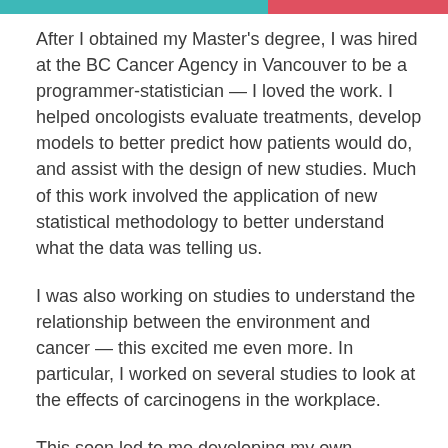After I obtained my Master's degree, I was hired at the BC Cancer Agency in Vancouver to be a programmer-statistician — I loved the work. I helped oncologists evaluate treatments, develop models to better predict how patients would do, and assist with the design of new studies. Much of this work involved the application of new statistical methodology to better understand what the data was telling us.
I was also working on studies to understand the relationship between the environment and cancer — this excited me even more. In particular, I worked on several studies to look at the effects of carcinogens in the workplace.
This soon led to me developing my own research studies, for example looking at the cancer risks in aluminum workers and farmers. I realized that I wanted to be a risk assessment researcher and had to...